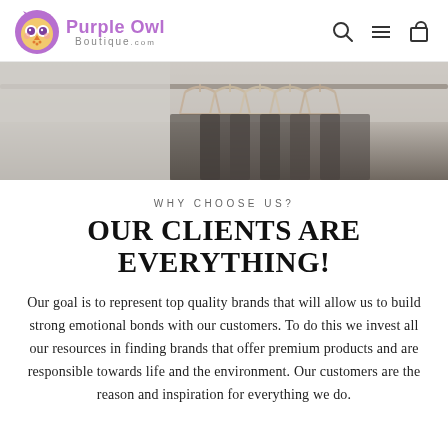Purple Owl Boutique.com
[Figure (photo): Photo of clothing hangers on a rack, muted grey and tan tones]
WHY CHOOSE US?
OUR CLIENTS ARE EVERYTHING!
Our goal is to represent top quality brands that will allow us to build strong emotional bonds with our customers. To do this we invest all our resources in finding brands that offer premium products and are responsible towards life and the environment. Our customers are the reason and inspiration for everything we do.